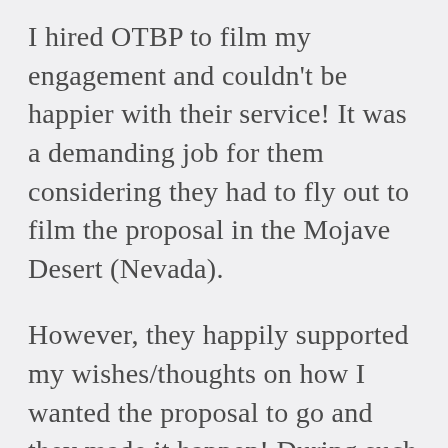I hired OTBP to film my engagement and couldn't be happier with their service! It was a demanding job for them considering they had to fly out to film the proposal in the Mojave Desert (Nevada).

However, they happily supported my wishes/thoughts on how I wanted the proposal to go and they made it happen! During such a special moment in my (and now Fiancé's) life, it was comforting knowing they